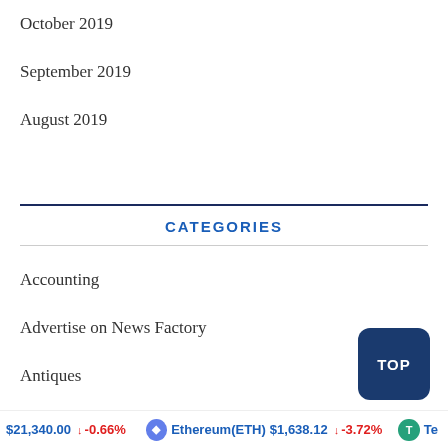October 2019
September 2019
August 2019
CATEGORIES
Accounting
Advertise on News Factory
Antiques
Basic plugins you will need for WordPress
$21,340.00 -0.66% Ethereum(ETH) $1,638.12 -3.72% Te